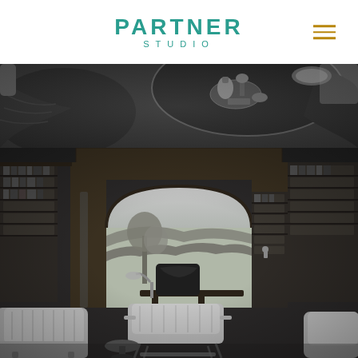PARTNER STUDIO
[Figure (photo): Black and white overhead/aerial view of a luxury lounge setting with a round table, decorative items, and plush seating]
[Figure (photo): Black and white interior photo of a classic library study room with dark wood bookshelves, arched doorways, landscape mural, leather chairs, a desk with lamp, and modern chairs in foreground]